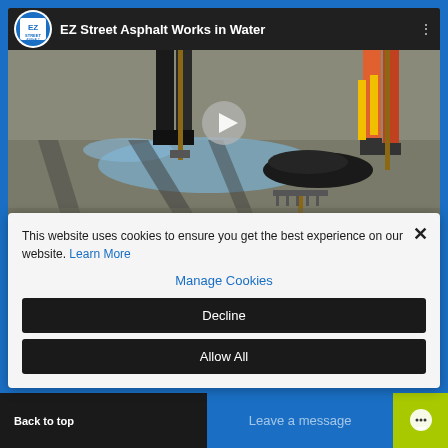[Figure (screenshot): YouTube-style video embed showing 'EZ Street Asphalt Works in Water' with asphalt workers filling a pothole with water present. A play button is overlaid in the center. EZ Street Asphalt logo appears in the top-left of the video bar.]
This website uses cookies to ensure you get the best experience on our website. Learn More
Manage Cookies
Decline
Allow All
Back to top   Leave a message